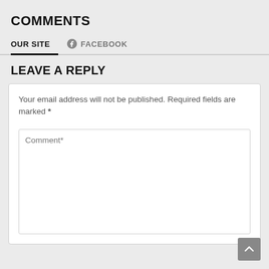COMMENTS
OUR SITE   FACEBOOK
LEAVE A REPLY
Your email address will not be published. Required fields are marked *
Comment*